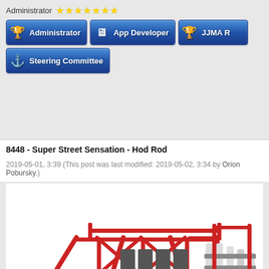Administrator ★★★★★★★
[Figure (screenshot): Forum user badge buttons: Administrator (gold trophy icon), App Developer (circuit board icon), JJMA R (partially visible, gold figure icon), Steering Committee (helm wheel icon) — all blue gradient buttons with white bold text]
8448 - Super Street Sensation - Hod Rod
2019-05-01, 3:39 (This post was last modified: 2019-05-02, 3:34 by Orion Pobursky.)
[Figure (photo): Photo of a LEGO Technic model — a red hot rod chassis with black wheels, red frame tubes, white suspension components, grey engine parts, and a red flexible hose, viewed from a front-left angle showing the undercarriage and engine bay detail]